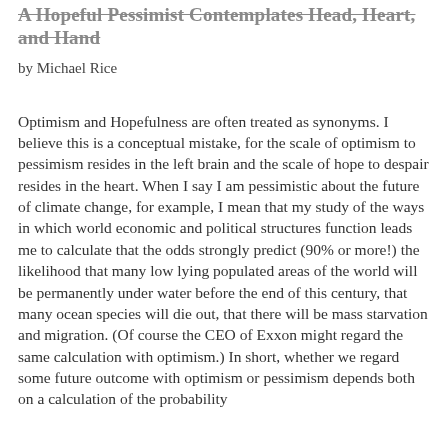A Hopeful Pessimist Contemplates Head, Heart, and Hand
by Michael Rice
Optimism and Hopefulness are often treated as synonyms. I believe this is a conceptual mistake, for the scale of optimism to pessimism resides in the left brain and the scale of hope to despair resides in the heart. When I say I am pessimistic about the future of climate change, for example, I mean that my study of the ways in which world economic and political structures function leads me to calculate that the odds strongly predict (90% or more!) the likelihood that many low lying populated areas of the world will be permanently under water before the end of this century, that many ocean species will die out, that there will be mass starvation and migration. (Of course the CEO of Exxon might regard the same calculation with optimism.) In short, whether we regard some future outcome with optimism or pessimism depends both on a calculation of the probability